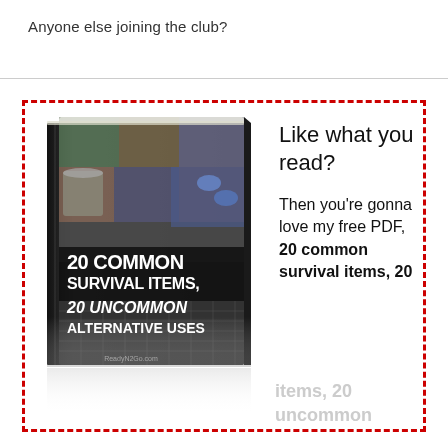Anyone else joining the club?
[Figure (illustration): Book cover: '20 Common Survival Items, 20 Uncommon Alternative Uses' with collage of survival items on cover, shown as a 3D book with reflection below]
Like what you read?

Then you're gonna love my free PDF, 20 common survival items, 20 uncommon